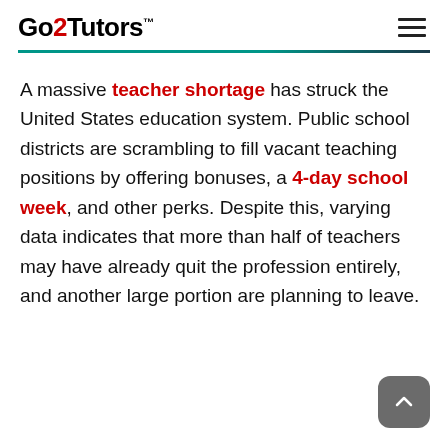Go2Tutors™
A massive teacher shortage has struck the United States education system. Public school districts are scrambling to fill vacant teaching positions by offering bonuses, a 4-day school week, and other perks. Despite this, varying data indicates that more than half of teachers may have already quit the profession entirely, and another large portion are planning to leave.